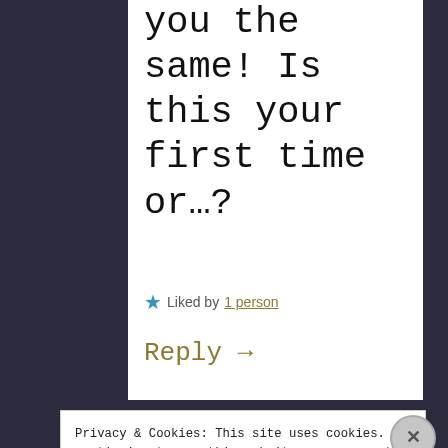you the same! Is this your first time or…?
★ Liked by 1 person
Reply →
Privacy & Cookies: This site uses cookies. By continuing to use this website, you agree to their use.
To find out more, including how to control cookies, see here: Cookie Policy
Close and accept
less than a week